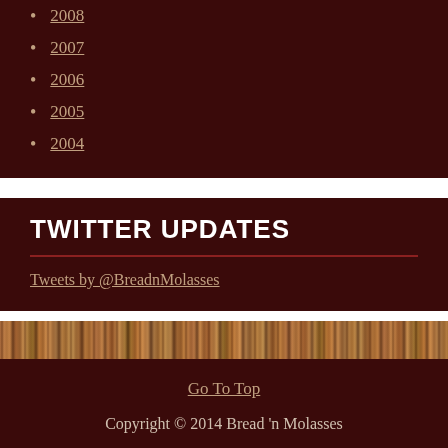2008
2007
2006
2005
2004
TWITTER UPDATES
Tweets by @BreadnMolasses
[Figure (photo): Wood texture banner image]
Go To Top
Copyright © 2014 Bread 'n Molasses
View Full Site